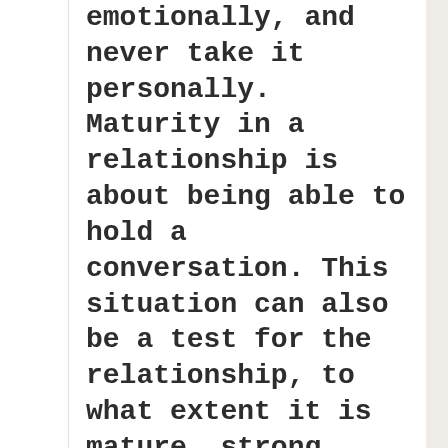emotionally, and never take it personally. Maturity in a relationship is about being able to hold a conversation. This situation can also be a test for the relationship, to what extent it is mature, strong, stable, or whether the first crisis can overcome it. It is best to watch porn videos together.